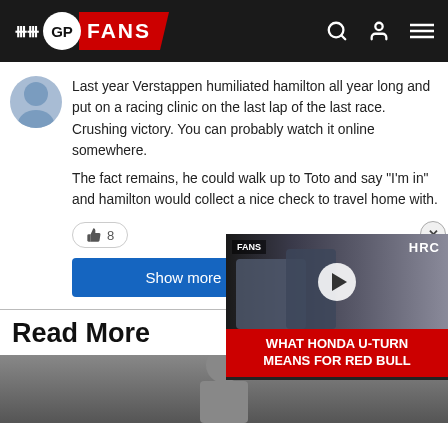[Figure (logo): GPFans website header logo with red ribbon and navigation icons]
Last year Verstappen humiliated hamilton all year long and put on a racing clinic on the last lap of the last race. Crushing victory. You can probably watch it online somewhere.
The fact remains, he could walk up to Toto and say "I'm in" and hamilton would collect a nice check to travel home with.
👍 8
Show more co...
Read More
[Figure (screenshot): Video overlay showing Honda/HRC related content with play button and caption: WHAT HONDA U-TURN MEANS FOR RED BULL]
[Figure (photo): Bottom partial photo of a person]